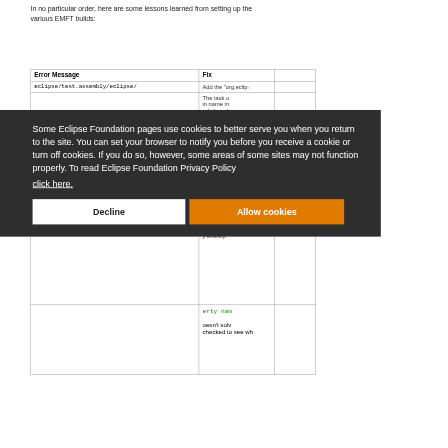In no particular order, here are some lessons learned from setting up the various EMFT builds:
| Error Message | Fix |
| --- | --- |
| eclipse/test.assembly/eclipse/ | Add the "org.eclip... |
Some Eclipse Foundation pages use cookies to better serve you when you return to the site. You can set your browser to notify you before you receive a cookie or turn off cookies. If you do so, however, some areas of some sites may not function properly. To read Eclipse Foundation Privacy Policy click here.